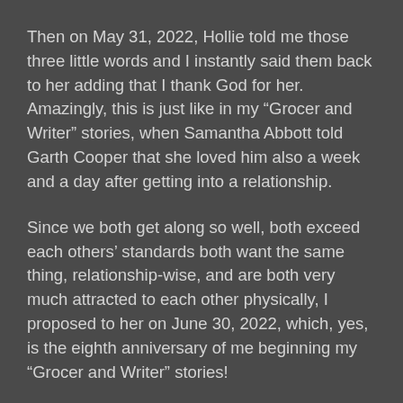Then on May 31, 2022, Hollie told me those three little words and I instantly said them back to her adding that I thank God for her. Amazingly, this is just like in my “Grocer and Writer” stories, when Samantha Abbott told Garth Cooper that she loved him also a week and a day after getting into a relationship.
Since we both get along so well, both exceed each others’ standards both want the same thing, relationship-wise, and are both very much attracted to each other physically, I proposed to her on June 30, 2022, which, yes, is the eighth anniversary of me beginning my “Grocer and Writer” stories!
I know this fact will make many people smile!
Honestly, though, I feel as if I am living out the lives of